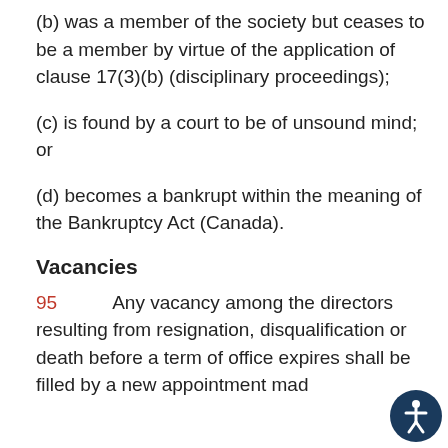(b) was a member of the society but ceases to be a member by virtue of the application of clause 17(3)(b) (disciplinary proceedings);
(c) is found by a court to be of unsound mind; or
(d) becomes a bankrupt within the meaning of the Bankruptcy Act (Canada).
Vacancies
95    Any vacancy among the directors resulting from resignation, disqualification or death before a term of office expires shall be filled by a new appointment made